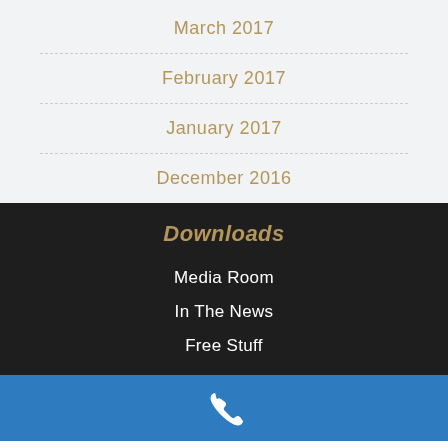March 2017
February 2017
January 2017
December 2016
Downloads
Media Room
In The News
Free Stuff
[Figure (illustration): White phone handset icon on blue background bar]